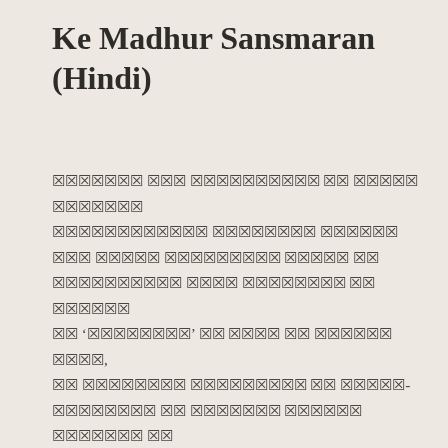Ke Madhur Sansmaran (Hindi)
Hindi text content in Devanagari script (rendered as placeholder boxes in the original image)